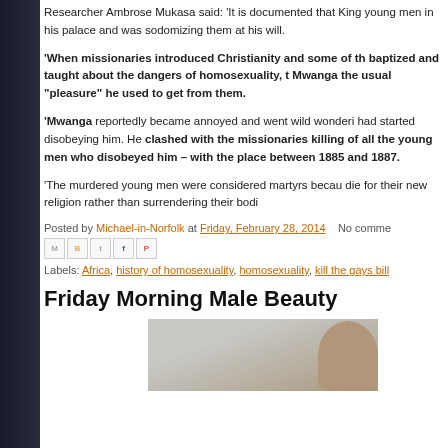Researcher Ambrose Mukasa said: ‘It is documented that King young men in his palace and was sodomizing them at his will.
‘When missionaries introduced Christianity and some of th baptized and taught about the dangers of homosexuality, t Mwanga the usual “pleasure” he used to get from them.
‘Mwanga reportedly became annoyed and went wild wonderi had started disobeying him. He clashed with the missionaries killing of all the young men who disobeyed him – with the place between 1885 and 1887.
‘The murdered young men were considered martyrs becau die for their new religion rather than surrendering their bodi
Posted by Michael-in-Norfolk at Friday, February 28, 2014 No comme
Labels: Africa, history of homosexuality, homosexuality, kill the gays bill
Friday Morning Male Beauty
[Figure (photo): Partial view of a person's face and hair, cropped at right edge of page]